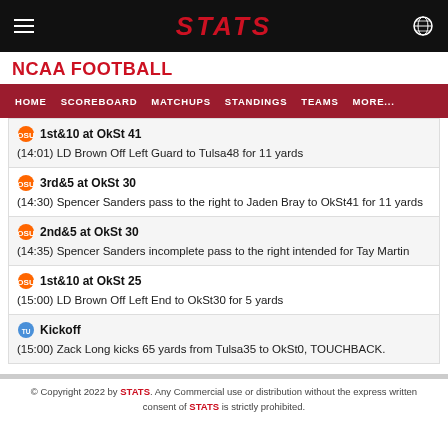STATS
NCAA FOOTBALL
HOME  SCOREBOARD  MATCHUPS  STANDINGS  TEAMS  MORE...
1st&10 at OkSt 41
(14:01) LD Brown Off Left Guard to Tulsa48 for 11 yards
3rd&5 at OkSt 30
(14:30) Spencer Sanders pass to the right to Jaden Bray to OkSt41 for 11 yards
2nd&5 at OkSt 30
(14:35) Spencer Sanders incomplete pass to the right intended for Tay Martin
1st&10 at OkSt 25
(15:00) LD Brown Off Left End to OkSt30 for 5 yards
Kickoff
(15:00) Zack Long kicks 65 yards from Tulsa35 to OkSt0, TOUCHBACK.
© Copyright 2022 by STATS. Any Commercial use or distribution without the express written consent of STATS is strictly prohibited.